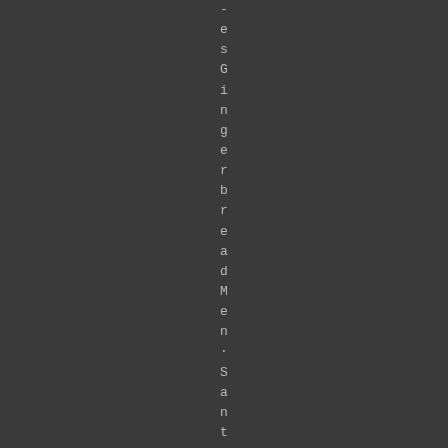- e s G i n g e r b r e a d M e n · S a n t a · s